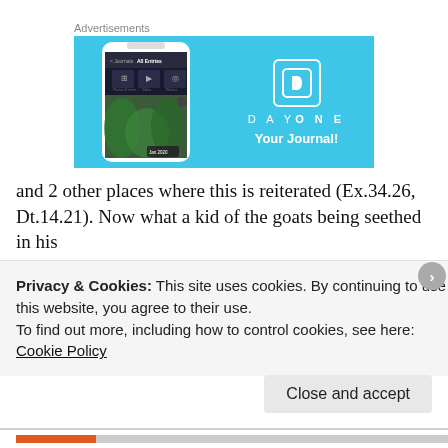Advertisements
[Figure (screenshot): DayOne app advertisement banner on a light blue background. Shows a smartphone with the DayOne app open displaying 'All Entries' screen with photo, video, and photo options. On the right side: DayOne bookmark icon, text 'DAY ONE', and tagline 'Your Journal!']
and 2 other places where this is reiterated (Ex.34.26, Dt.14.21). Now what a kid of the goats being seethed in his
Privacy & Cookies: This site uses cookies. By continuing to use this website, you agree to their use.
To find out more, including how to control cookies, see here: Cookie Policy
Close and accept